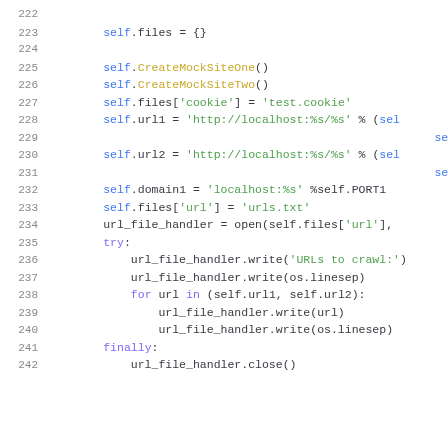Python source code listing, lines 222-242, showing test setup methods including CreateMockSiteOne(), CreateMockSiteTwo(), file assignments, URL construction, and file writing with try/finally block.